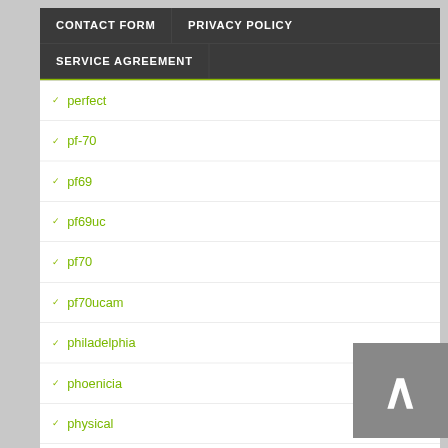CONTACT FORM | PRIVACY POLICY
SERVICE AGREEMENT
perfect
pf-70
pf69
pf69uc
pf70
pf70ucam
philadelphia
phoenicia
physical
piece
pieces